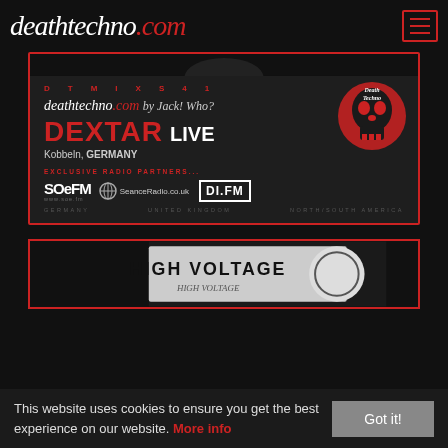deathtechno.com
[Figure (illustration): Promotional banner for deathtechno.com featuring DTMIXS41 with DEXTAR LIVE from Kobbeln, GERMANY. Shows deathtechno.com by Jack! Who? branding, Death Techno skull logo, and exclusive radio partners: SoeFM (Germany), SeanceRadio.co.uk (United Kingdom), DI.FM (North/South America).]
[Figure (illustration): Partial view of a second promotional card showing HIGH VOLTAGE text and a circular logo.]
This website uses cookies to ensure you get the best experience on our website. More info